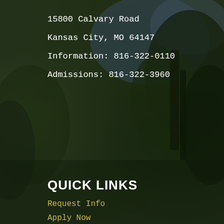15800 Calvary Road
Kansas City, MO 64147
Information: 816-322-0110
Admissions: 816-322-3960
QUICK LINKS
Request Info
Apply Now
Class Schedule
Calendar
Alumni
Invest
Donate in memory of...
Pay
Facilities
Jobs
Box Office